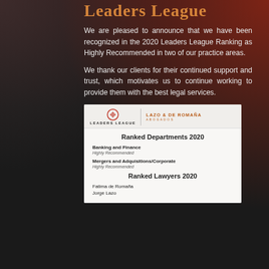Leaders League
We are pleased to announce that we have been recognized in the 2020 Leaders League Ranking as Highly Recommended in two of our practice areas.
We thank our clients for their continued support and trust, which motivates us to continue working to provide them with the best legal services.
[Figure (other): Leaders League ranking certificate showing Lazo & de Romaña firm logo alongside Leaders League logo, with Ranked Departments 2020 section listing Banking and Finance (Highly Recommended) and Mergers and Adquisitions/Corporate (Highly Recommended), and Ranked Lawyers 2020 section listing Fatima de Romaña and Jorge Lazo.]